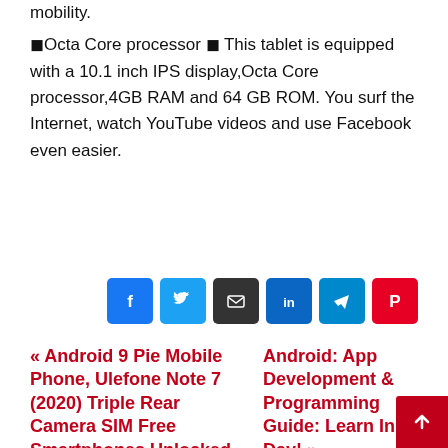mobility.
⬛Octa Core processor ⬛ This tablet is equipped with a 10.1 inch IPS display,Octa Core processor,4GB RAM and 64 GB ROM. You surf the Internet, watch YouTube videos and use Facebook even easier.
[Figure (other): Row of social share buttons: Facebook (blue), Twitter (blue), Email (dark), LinkedIn (blue), Telegram (blue), Pinterest (red)]
« Android 9 Pie Mobile Phone, Ulefone Note 7 (2020) Triple Rear Camera SIM Free Smartphones Unlocked, Triple Card Slots, 6.1 Inch Waterdrop Screen
Android: App Development & Programming Guide: Learn In A Day! »